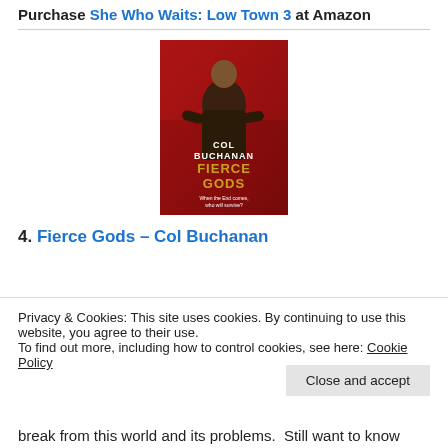Purchase She Who Waits: Low Town 3 at Amazon
[Figure (illustration): Book cover of 'Fierce Gods' by Col Buchanan. Shows a warrior figure in armour against a red background with the text 'COL BUCHANAN FIERCE GODS When the End comes, who will survive?']
4. Fierce Gods – Col Buchanan
Privacy & Cookies: This site uses cookies. By continuing to use this website, you agree to their use.
To find out more, including how to control cookies, see here: Cookie Policy
break from this world and its problems.  Still want to know